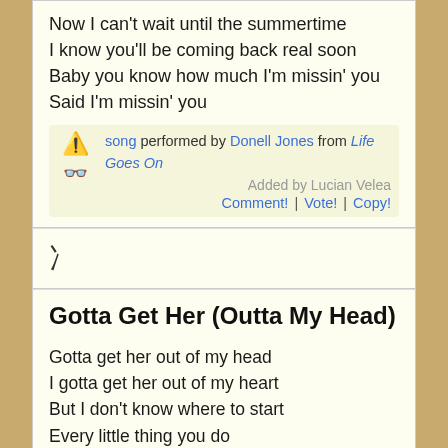Now I can't wait until the summertime
I know you'll be coming back real soon
Baby you know how much I'm missin' you
Said I'm missin' you
⚠️ 👓 song performed by Donell Jones from Life Goes On
Added by Lucian Velea
Comment! | Vote! | Copy!
[Figure (other): Share icon (external link arrow)]
Gotta Get Her (Outta My Head)
Gotta get her out of my head
I gotta get her out of my heart
But I don't know where to start
Every little thing you do
Just won't let me get over you

Gotta get her out of my head